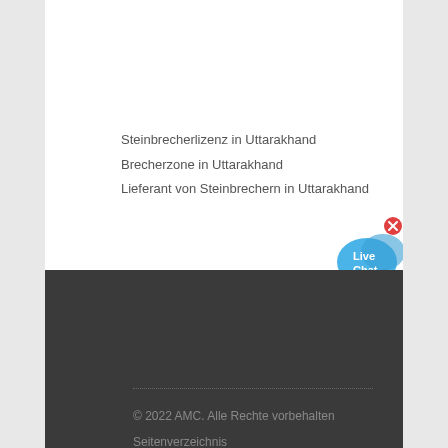Steinbrecherlizenz in Uttarakhand
Brecherzone in Uttarakhand
Lieferant von Steinbrechern in Uttarakhand
[Figure (illustration): Live Chat widget button with speech bubble icon]
© 2022 AMC. Alle Rechte vorbehalten
Seitenverzeichnis